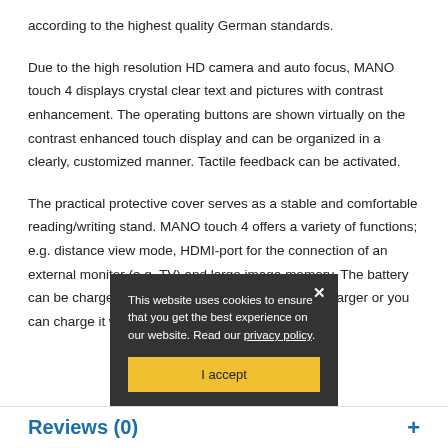according to the highest quality German standards.
Due to the high resolution HD camera and auto focus, MANO touch 4 displays crystal clear text and pictures with contrast enhancement. The operating buttons are shown virtually on the contrast enhanced touch display and can be organized in a clearly, customized manner. Tactile feedback can be activated.
The practical protective cover serves as a stable and comfortable reading/writing stand. MANO touch 4 offers a variety of functions; e.g. distance view mode, HDMI-port for the connection of an external monitor (e.g. TV) and large image memory. The battery can be charged easily with the optional induction charger or you can charge it with your existing one.
[Figure (screenshot): Cookie consent overlay banner with dark background showing text 'This website uses cookies to ensure that you get the best experience on our website. Read our privacy policy.' with an X close button and a yellow 'I accept' button.]
Reviews (0)